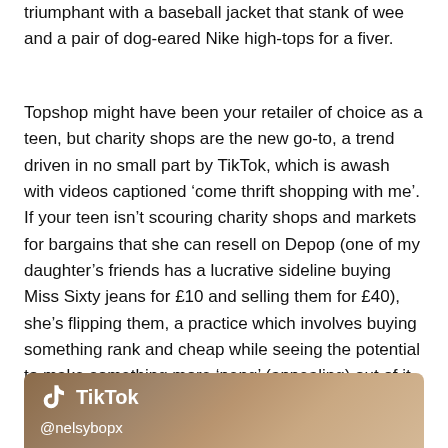triumphant with a baseball jacket that stank of wee and a pair of dog-eared Nike high-tops for a fiver.
Topshop might have been your retailer of choice as a teen, but charity shops are the new go-to, a trend driven in no small part by TikTok, which is awash with videos captioned ‘come thrift shopping with me’. If your teen isn’t scouring charity shops and markets for bargains that she can resell on Depop (one of my daughter’s friends has a lucrative sideline buying Miss Sixty jeans for £10 and selling them for £40), she’s flipping them, a practice which involves buying something rank and cheap while seeing the potential to make something more ‘peng’ (appealing) out of it.
[Figure (screenshot): TikTok embed card showing TikTok logo and handle @nelsybopx on a warm brown/tan gradient background]